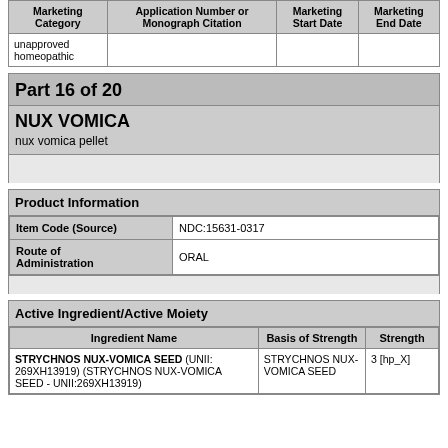| Marketing Category | Application Number or Monograph Citation | Marketing Start Date | Marketing End Date |
| --- | --- | --- | --- |
| unapproved homeopathic |  |  |  |
Part 16 of 20
NUX VOMICA
nux vomica pellet
Product Information
|  |  |
| --- | --- |
| Item Code (Source) | NDC:15631-0317 |
| Route of Administration | ORAL |
Active Ingredient/Active Moiety
| Ingredient Name | Basis of Strength | Strength |
| --- | --- | --- |
| STRYCHNOS NUX-VOMICA SEED (UNII: 269XH13919) (STRYCHNOS NUX-VOMICA SEED - UNII:269XH13919) | STRYCHNOS NUX-VOMICA SEED | 3 [hp_X] |